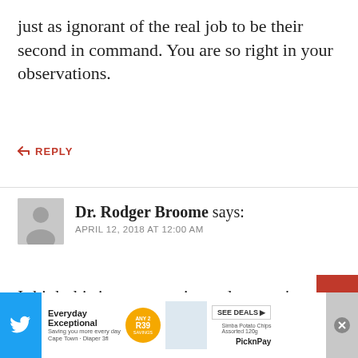just as ignorant of the real job to be their second in command. You are so right in your observations.
↩ REPLY
Dr. Rodger Broome says: APRIL 12, 2018 AT 12:00 AM
I think this is a great point and we can't over-think what purpose of the police is. The purpose is public protection and peace keeping. Unfortunately, our “business model” along with its marketing schemes has convinced citize